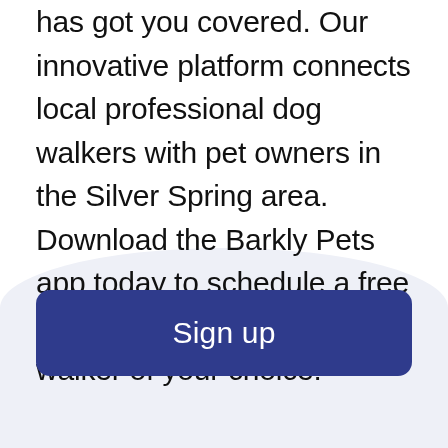has got you covered. Our innovative platform connects local professional dog walkers with pet owners in the Silver Spring area. Download the Barkly Pets app today to schedule a free Meet and Greet with a dog walker of your choice!
Sign up